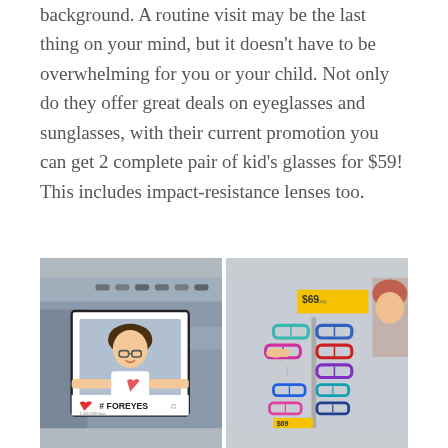background. A routine visit may be the last thing on your mind, but it doesn't have to be overwhelming for you or your child. Not only do they offer great deals on eyeglasses and sunglasses, with their current promotion you can get 2 complete pair of kid's glasses for $59! This includes impact-resistance lenses too.
[Figure (photo): Two side-by-side photos: left shows a young girl holding a large #FOREYES social media frame in an eyeglass store; right shows a display rack of colorful children's eyeglasses with a $69 price tag sign.]